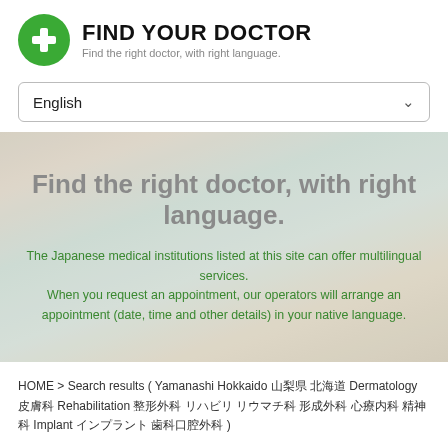FIND YOUR DOCTOR
Find the right doctor, with right language.
English
Find the right doctor, with right language.
The Japanese medical institutions listed at this site can offer multilingual services.
When you request an appointment, our operators will arrange an appointment (date, time and other details) in your native language.
HOME > Search results ( Yamanashi Hokkaido 山梨県 北海道 Dermatology 皮膚科 Rehabilitation 整形外科 リハビリ リウマチ科 形成外科 心療内科 精神科 Implant インプラント 歯科口腔外科 )